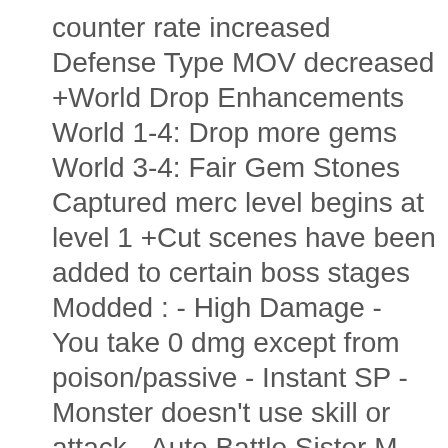counter rate increased Defense Type MOV decreased +World Drop Enhancements World 1-4: Drop more gems World 3-4: Fair Gem Stones Captured merc level begins at level 1 +Cut scenes have been added to certain boss stages Modded : - High Damage - You take 0 dmg except from poison/passive - Instant SP - Monster doesn't use skill or attack - Auto Battle Sister M stage with ease Size: 37.7 MB Version: v1.3.8 Requires Android 2.3.3 or Higher!
Real Driving 2 Mod Real Driving 2 v0.15 mod Features:Modify a large amount of currencyEver desire to play the most realistic racing car simulator?Along with Real Driving 2, we're ready to surprise you with loads of cool realistic cars.Now you can drive, drift and customize a